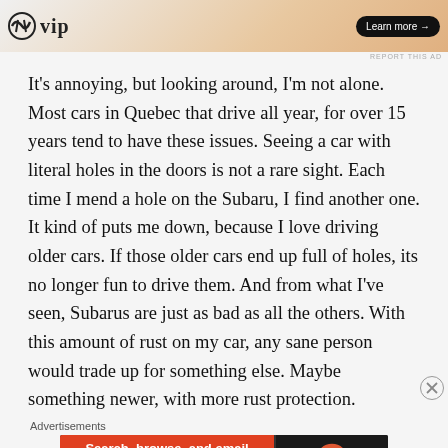[Figure (other): Top advertisement banner with WordPress VIP logo and 'Learn more' button, gradient orange background]
It's annoying, but looking around, I'm not alone. Most cars in Quebec that drive all year, for over 15 years tend to have these issues. Seeing a car with literal holes in the doors is not a rare sight. Each time I mend a hole on the Subaru, I find another one. It kind of puts me down, because I love driving older cars. If those older cars end up full of holes, its no longer fun to drive them. And from what I've seen, Subarus are just as bad as all the others. With this amount of rust on my car, any sane person would trade up for something else. Maybe something newer, with more rust protection.
Advertisements
[Figure (other): DuckDuckGo advertisement banner: orange left side with 'Search, browse, and email with more privacy. All in One Free App' and dark right side with DuckDuckGo logo]